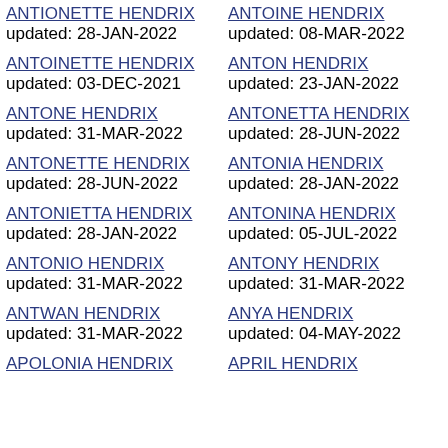ANTIONETTE HENDRIX updated: 28-JAN-2022
ANTOINE HENDRIX updated: 08-MAR-2022
ANTOINETTE HENDRIX updated: 03-DEC-2021
ANTON HENDRIX updated: 23-JAN-2022
ANTONE HENDRIX updated: 31-MAR-2022
ANTONETTA HENDRIX updated: 28-JUN-2022
ANTONETTE HENDRIX updated: 28-JUN-2022
ANTONIA HENDRIX updated: 28-JAN-2022
ANTONIETTA HENDRIX updated: 28-JAN-2022
ANTONINA HENDRIX updated: 05-JUL-2022
ANTONIO HENDRIX updated: 31-MAR-2022
ANTONY HENDRIX updated: 31-MAR-2022
ANTWAN HENDRIX updated: 31-MAR-2022
ANYA HENDRIX updated: 04-MAY-2022
APOLONIA HENDRIX
APRIL HENDRIX